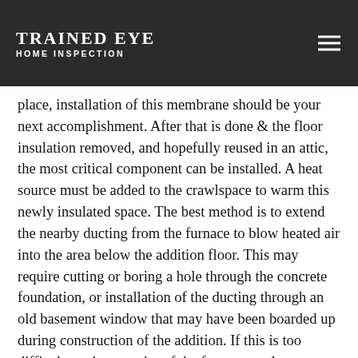TRAINED EYE HOME INSPECTION
place, installation of this membrane should be your next accomplishment. After that is done & the floor insulation removed, and hopefully reused in an attic, the most critical component can be installed. A heat source must be added to the crawlspace to warm this newly insulated space. The best method is to extend the nearby ducting from the furnace to blow heated air into the area below the addition floor. This may require cutting or boring a hole through the concrete foundation, or installation of the ducting through an old basement window that may have been boarded up during construction of the addition. If this is too difficult, or the capacity of the furnace too low, installation of thermostatically